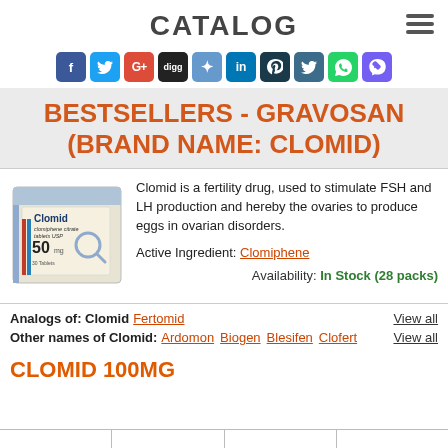CATALOG
[Figure (infographic): Row of 10 social media sharing icons: Facebook, Twitter, Google+, Digg, Delicious, LinkedIn, Pinterest, Twitter bird, WhatsApp, Viber]
BESTSELLERS - GRAVOSAN (BRAND NAME: CLOMID)
[Figure (photo): Box of Clomid (clomiphene citrate tablets USP) 50mg]
Clomid is a fertility drug, used to stimulate FSH and LH production and hereby the ovaries to produce eggs in ovarian disorders.
Active Ingredient: Clomiphene
Availability: In Stock (28 packs)
Analogs of: Clomid   Fertomid   View all
Other names of Clomid:   Ardomon   Biogen   Blesifen   Clofert   View all
CLOMID 100MG